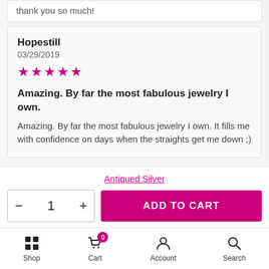thank you so much!
Hopestill
03/29/2019
★★★★★
Amazing. By far the most fabulous jewelry I own.
Amazing. By far the most fabulous jewelry I own. It fills me with confidence on days when the straights get me down ;)
ED
03/28/2019
Antiqued Silver
- 1 + ADD TO CART
Shop  Cart  Account  Search